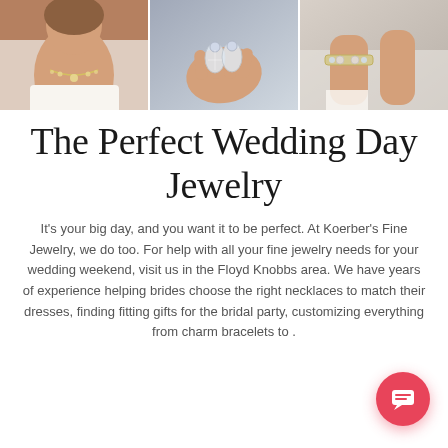[Figure (photo): Three photos side by side: left shows a bride wearing a diamond necklace, center shows earrings held in a hand, right shows a wrist with a bracelet being clasped]
The Perfect Wedding Day Jewelry
It's your big day, and you want it to be perfect. At Koerber's Fine Jewelry, we do too. For help with all your fine jewelry needs for your wedding weekend, visit us in the Floyd Knobbs area. We have years of experience helping brides choose the right necklaces to match their dresses, finding fitting gifts for the bridal party, customizing everything from charm bracelets to .